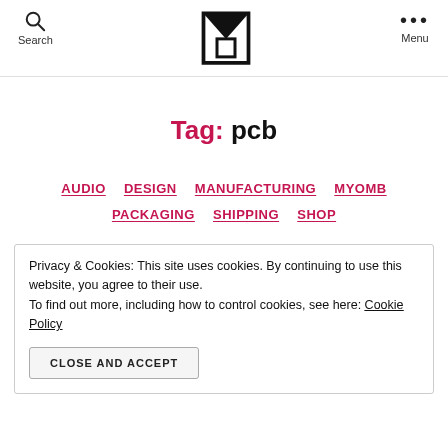Search | [Logo] | Menu
Tag: pcb
AUDIO  DESIGN  MANUFACTURING  MYOMB  PACKAGING  SHIPPING  SHOP
Privacy & Cookies: This site uses cookies. By continuing to use this website, you agree to their use. To find out more, including how to control cookies, see here: Cookie Policy
CLOSE AND ACCEPT